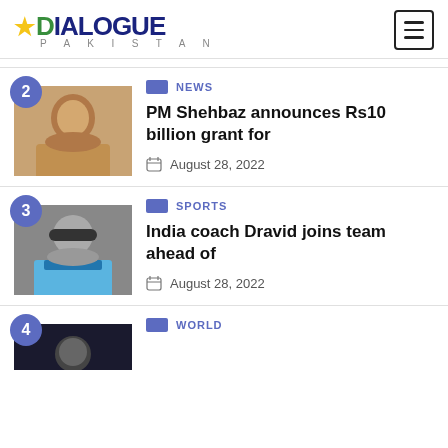DIALOGUE PAKISTAN
[Figure (photo): Photo of PM Shehbaz, man in tan shirt seated]
NEWS
PM Shehbaz announces Rs10 billion grant for
August 28, 2022
[Figure (photo): Photo of India coach Dravid in blue sports attire]
SPORTS
India coach Dravid joins team ahead of
August 28, 2022
WORLD